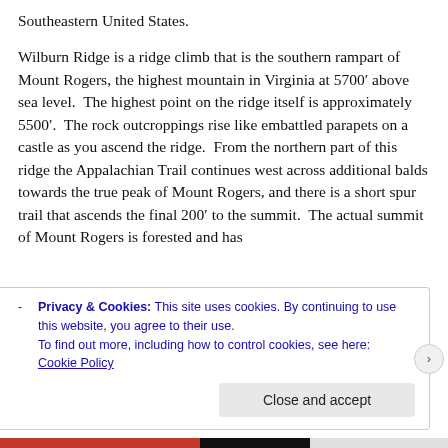Southeastern United States.
Wilburn Ridge is a ridge climb that is the southern rampart of Mount Rogers, the highest mountain in Virginia at 5700’ above sea level. The highest point on the ridge itself is approximately 5500’. The rock outcroppings rise like embattled parapets on a castle as you ascend the ridge. From the northern part of this ridge the Appalachian Trail continues west across additional balds towards the true peak of Mount Rogers, and there is a short spur trail that ascends the final 200’ to the summit. The actual summit of Mount Rogers is forested and has
Privacy & Cookies: This site uses cookies. By continuing to use this website, you agree to their use.
To find out more, including how to control cookies, see here:
Cookie Policy

Close and accept